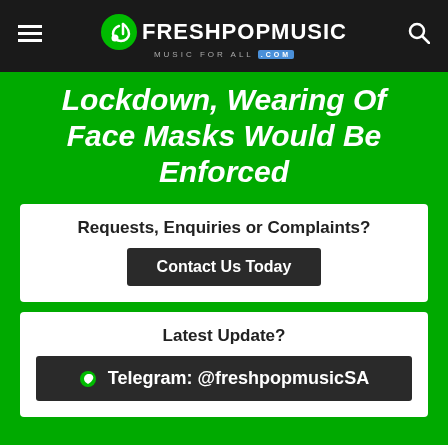FRESHPOPMUSIC — MUSIC FOR ALL .com
Lockdown, Wearing Of Face Masks Would Be Enforced
Requests, Enquiries or Complaints?
Contact Us Today
Latest Update?
Telegram: @freshpopmusicSA
You are here: Home › Forum › General › News
Omotayo   May 01, 2020   News